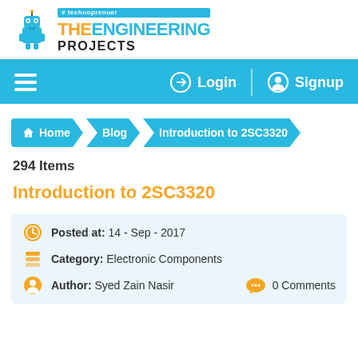[Figure (logo): The Engineering Projects logo with robot mascot, hashtag technoprenuer tag, orange THE, cyan ENGINEERING, black PROJECTS text]
[Figure (screenshot): Navigation bar with hamburger menu, Login and Signup buttons on cyan background]
[Figure (infographic): Breadcrumb navigation: Home > Blog > Introduction to 2SC3320]
294 Items
Introduction to 2SC3320
Posted at:  14 - Sep - 2017
Category:  Electronic Components
Author:  Syed Zain Nasir   0 Comments